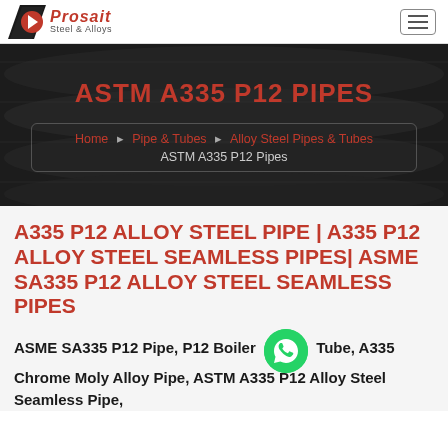Prosait Steel & Alloys
ASTM A335 P12 PIPES
Home  Pipe & Tubes  Alloy Steel Pipes & Tubes  ASTM A335 P12 Pipes
A335 P12 ALLOY STEEL PIPE | A335 P12 ALLOY STEEL SEAMLESS PIPES| ASME SA335 P12 ALLOY STEEL SEAMLESS PIPES
ASME SA335 P12 Pipe, P12 Boiler Tube, A335 Chrome Moly Alloy Pipe, ASTM A335 P12 Alloy Steel Seamless Pipe,